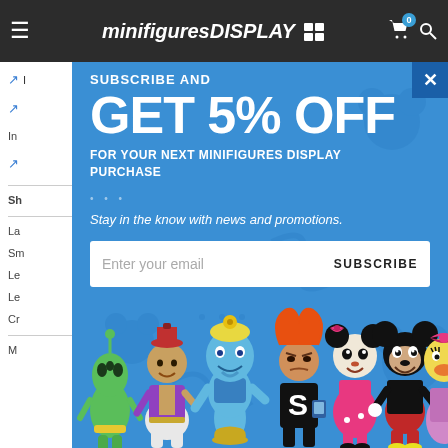minifiguresDISPLAY
[Figure (screenshot): Website screenshot showing minifiguresDISPLAY website with a popup modal offering 5% off subscription discount. Background shows a blue Disney-themed popup over the website's navigation and sidebar. LEGO Disney minifigures are shown at the bottom of the modal including Alien, Aladdin, Genie, Anger/Syndrome villain, Minnie Mouse, Mickey Mouse, and Daisy Duck.]
SUBSCRIBE AND GET 5% OFF
FOR YOUR NEXT MINIFIGURES DISPLAY PURCHASE
Stay in the know with news and promotions.
Enter your email
SUBSCRIBE